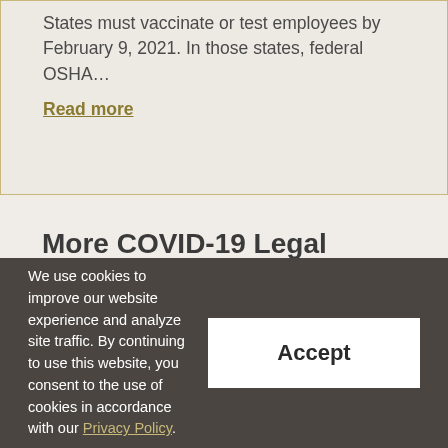States must vaccinate or test employees by February 9, 2021. In those states, federal OSHA…
Read more
More COVID-19 Legal Developments
The legal developments on COVID did not
We use cookies to improve our website experience and analyze site traffic. By continuing to use this website, you consent to the use of cookies in accordance with our Privacy Policy.
Accept